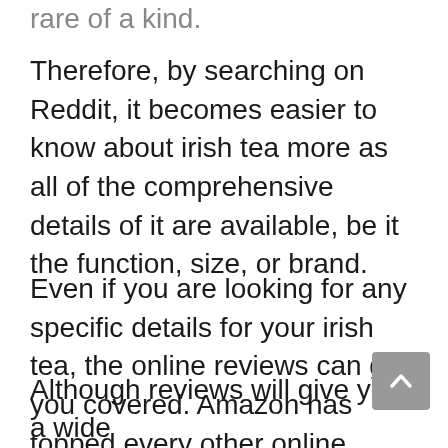rare of a kind.
Therefore, by searching on Reddit, it becomes easier to know about irish tea more as all of the comprehensive details of it are available, be it the function, size, or brand.
Even if you are looking for any specific details for your irish tea, the online reviews can get you covered. Amazon has topped every other online platform in case of authenticity and trust issues. So, you may want to check out the amazon review section for your irish tea.
Although reviews will give you a wide